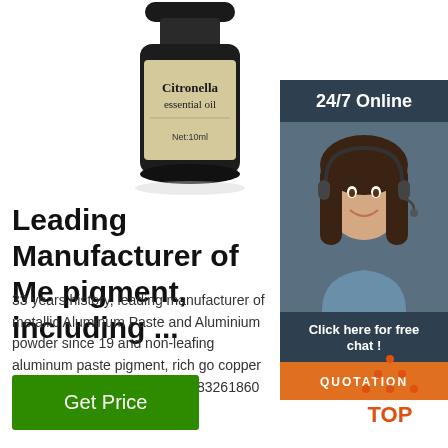[Figure (photo): A bottle of Citronella essential oil with label showing 'Citronella essential oil' and 'Net:10ml', dark glass bottle with gold/cream label]
[Figure (photo): 24/7 Online support panel with a woman wearing a headset smiling, with 'Click here for free chat!' text and an orange QUOTATION button]
Leading Manufacturer of Me pigment, including ...
33 years history, leading manufacturer of metallic Aluminum Paste and Aluminium powder since 19 and non-leafing aluminum paste pigment, rich go copper bronze powder. Tel:0086-531-83261860 Email:info1@zqmetallic.com
[Figure (illustration): Orange TOP button icon with dotted triangle above the letters TOP in orange]
Get Price